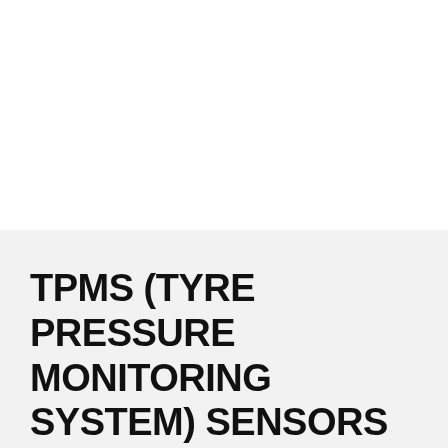[Figure (photo): White/blank image area at the top of the page, appears to be a product photo placeholder or cropped image region with white background.]
TPMS (TYRE PRESSURE MONITORING SYSTEM) SENSORS FOR ALFA ROMEO SPIDER JUNE